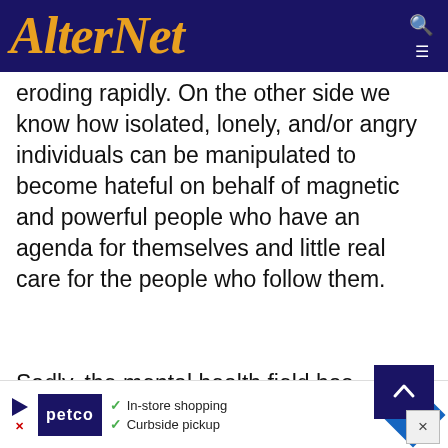AlterNet
eroding rapidly. On the other side we know how isolated, lonely, and/or angry individuals can be manipulated to become hateful on behalf of magnetic and powerful people who have an agenda for themselves and little real care for the people who follow them.
Sadly, the mental health field has been too slow to come to the table on many of the psychological issues present in this current crisis. We believe this has led to a failure of o
[Figure (other): Advertisement banner for Petco showing in-store shopping and curbside pickup options with a navigation arrow icon]